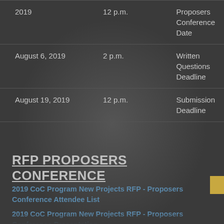| Date | Time | Event |
| --- | --- | --- |
| 2019 | 12 p.m. | Proposers Conference Date |
| August 6, 2019 | 2 p.m. | Written Questions Deadline |
| August 19, 2019 | 12 p.m. | Submission Deadline |
RFP PROPOSERS CONFERENCE
2019 CoC Program New Projects RFP - Proposers Conference Attendee List
2019 CoC Program New Projects RFP - Proposers Conference Presentation
2019 CoC Program New Projects RFP - Proposers...